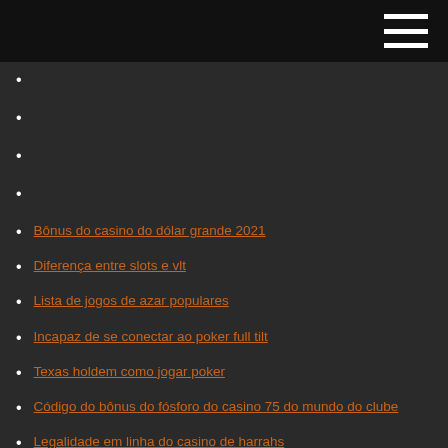Bônus do casino do dólar grande 2021
Diferença entre slots e vlt
Lista de jogos de azar populares
Incapaz de se conectar ao poker full tilt
Texas holdem como jogar poker
Código do bônus do fósforo do casino 75 do mundo do clube
Legalidade em linha do casino de harrahs
Hulk quebra jogos de graça
Poker face alegria versão karaoke